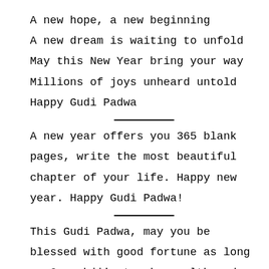A new hope, a new beginning
A new dream is waiting to unfold
May this New Year bring your way
Millions of joys unheard untold
Happy Gudi Padwa
A new year offers you 365 blank pages, write the most beautiful chapter of your life. Happy new year. Happy Gudi Padwa!
This Gudi Padwa, may you be blessed with good fortune as long as Ganeshji's trunk, wealth and